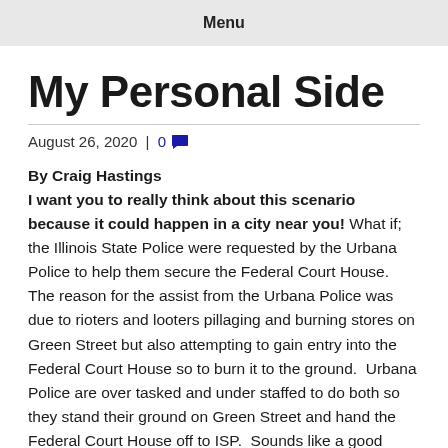Menu
My Personal Side
August 26, 2020 | 0
By Craig Hastings
I want you to really think about this scenario because it could happen in a city near you! What if; the Illinois State Police were requested by the Urbana Police to help them secure the Federal Court House.  The reason for the assist from the Urbana Police was due to rioters and looters pillaging and burning stores on Green Street but also attempting to gain entry into the Federal Court House so to burn it to the ground.  Urbana Police are over tasked and under staffed to do both so they stand their ground on Green Street and hand the Federal Court House off to ISP.  Sounds like a good plan.  Why burn it down; pick a reason.  Not that these rioters and looters really care one way or another but it's the reason you'll be in The Illinois